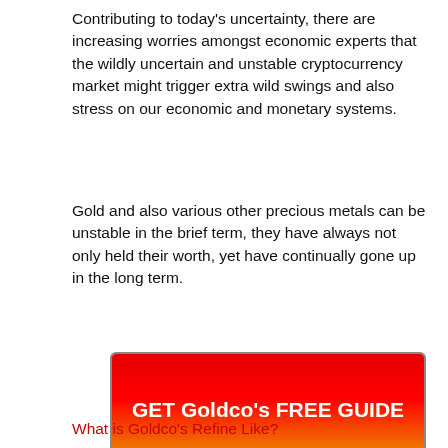Contributing to today's uncertainty, there are increasing worries amongst economic experts that the wildly uncertain and unstable cryptocurrency market might trigger extra wild swings and also stress on our economic and monetary systems.
Gold and also various other precious metals can be unstable in the brief term, they have always not only held their worth, yet have continually gone up in the long term.
[Figure (other): Red-to-orange gradient call-to-action button with white bold text reading 'GET Goldco's FREE GUIDE', bordered with a gray outline]
What is Goldco's Refine Like?